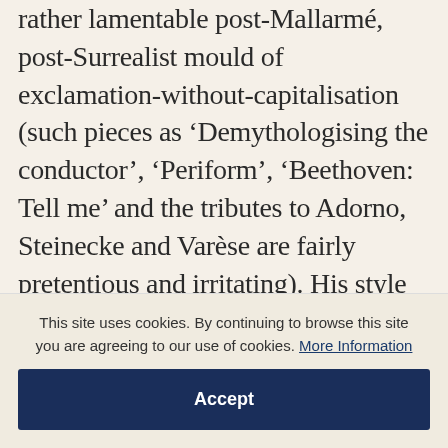rather lamentable post-Mallarmé, post-Surrealist mould of exclamation-without-capitalisation (such pieces as 'Demythologising the conductor', 'Periform', 'Beethoven: Tell me' and the tributes to Adorno, Steinecke and Varèse are fairly pretentious and irritating). His style can be both brilliant and verbose. He is often wordy and repetitious, and equally prone to compress more matter into a space than most readers are comfortable with, while his allusiveness, fondness for impenetrable quotations from Mallarmé and
This site uses cookies. By continuing to browse this site you are agreeing to our use of cookies. More Information
Accept